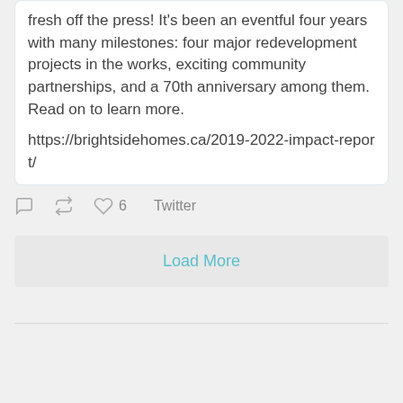fresh off the press! It's been an eventful four years with many milestones: four major redevelopment projects in the works, exciting community partnerships, and a 70th anniversary among them. Read on to learn more.
https://brightsidehomes.ca/2019-2022-impact-report/
6   Twitter
Load More